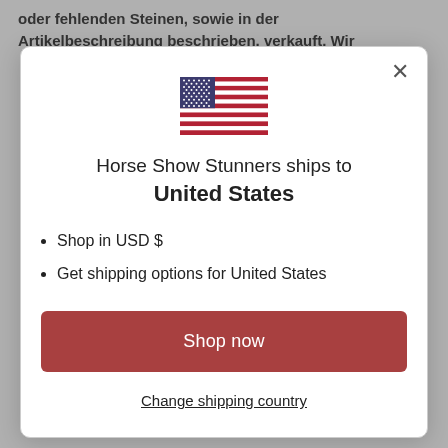oder fehlenden Steinen, sowie in der Artikelbeschreibung beschrieben, verkauft. Wir
[Figure (illustration): US flag icon]
Horse Show Stunners ships to United States
Shop in USD $
Get shipping options for United States
Shop now
Change shipping country